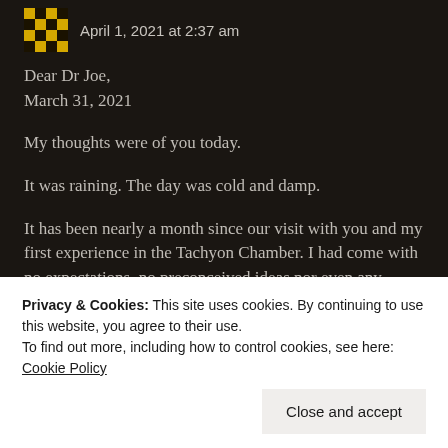April 1, 2021 at 2:37 am
Dear Dr Joe,
March 31, 2021
My thoughts were of you today.
It was raining. The day was cold and damp.
It has been nearly a month since our visit with you and my first experience in the Tachyon Chamber. I had come with no expectations, no preconceived ideas nor even any knowledge of tachyon healing. I only came
Privacy & Cookies: This site uses cookies. By continuing to use this website, you agree to their use.
To find out more, including how to control cookies, see here: Cookie Policy
uplifting and inspiring… from the sensations of